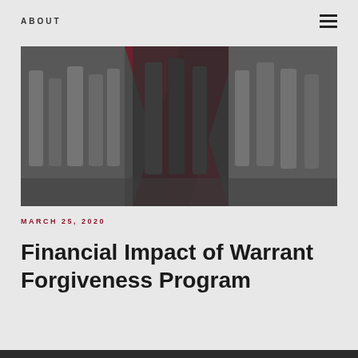ABOUT
[Figure (photo): Black and white photo of people standing in line, with red/dark overlay graphic elements (X shape). Appears to be a community event or waiting line.]
MARCH 25, 2020
Financial Impact of Warrant Forgiveness Program